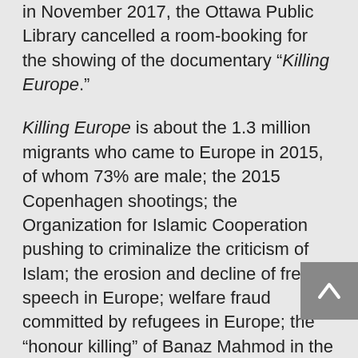In November 2017, the Ottawa Public Library cancelled a room-booking for the showing of the documentary “Killing Europe.”
Killing Europe is about the 1.3 million migrants who came to Europe in 2015, of whom 73% are male; the 2015 Copenhagen shootings; the Organization for Islamic Cooperation pushing to criminalize the criticism of Islam; the erosion and decline of free speech in Europe; welfare fraud committed by refugees in Europe; the “honour killing” of Banaz Mahmod in the U.K. by her own biological family after she left her abusive husband; Oslo rape statistics showing that rape victims are overwhelmingly Norwegians, and